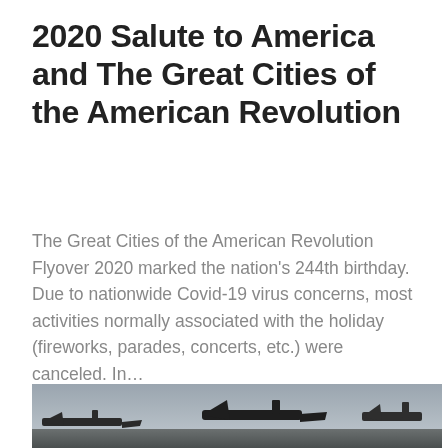2020 Salute to America and The Great Cities of the American Revolution
The Great Cities of the American Revolution Flyover 2020 marked the nation's 244th birthday. Due to nationwide Covid-19 virus concerns, most activities normally associated with the holiday (fireworks, parades, concerts, etc.) were canceled. In...
[Figure (photo): Military aircraft on a runway or tarmac with an overcast grey sky in the background. Fighter jets visible at the bottom of the image.]